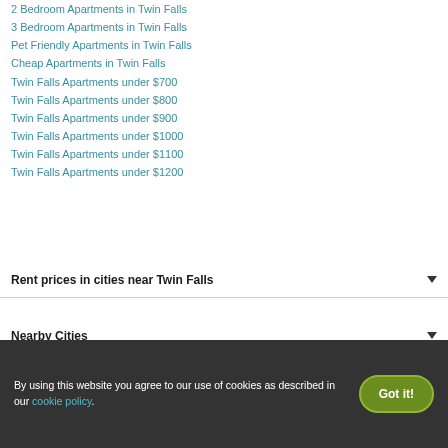2 Bedroom Apartments in Twin Falls
3 Bedroom Apartments in Twin Falls
Pet Friendly Apartments in Twin Falls
Cheap Apartments in Twin Falls
Twin Falls Apartments under $700
Twin Falls Apartments under $800
Twin Falls Apartments under $900
Twin Falls Apartments under $1000
Twin Falls Apartments under $1100
Twin Falls Apartments under $1200
Rent prices in cities near Twin Falls
Nearby Cities
By using this website you agree to our use of cookies as described in our cookie policy.